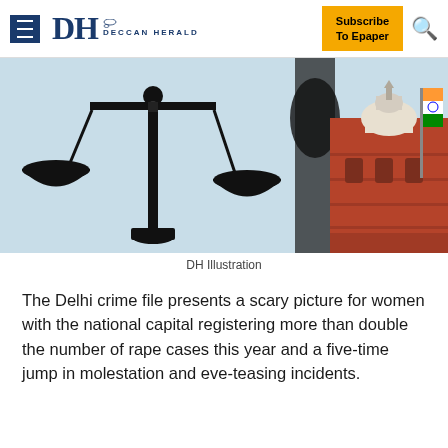DH DECCAN HERALD | Subscribe To Epaper
[Figure (illustration): Composite image: black silhouette of justice scales on light blue background (left) and Supreme Court of India building in red sandstone (right)]
DH Illustration
The Delhi crime file presents a scary picture for women with the national capital registering more than double the number of rape cases this year and a five-time jump in molestation and eve-teasing incidents.